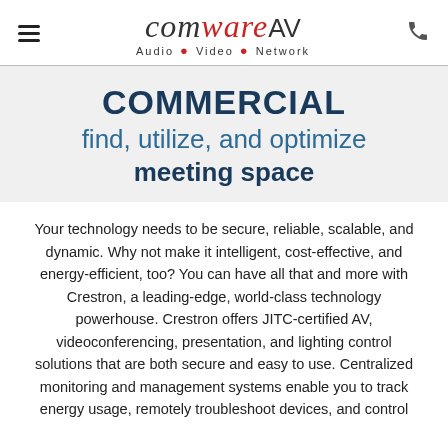[Figure (logo): ComWare AV logo with hamburger menu on left and phone icon on right. Logo shows 'com' in gray italic, 'ware' in red italic, 'AV' in gray. Subtitle reads 'Audio • Video • Network']
COMMERCIAL
find, utilize, and optimize
meeting space
Your technology needs to be secure, reliable, scalable, and dynamic. Why not make it intelligent, cost-effective, and energy-efficient, too? You can have all that and more with Crestron, a leading-edge, world-class technology powerhouse. Crestron offers JITC-certified AV, videoconferencing, presentation, and lighting control solutions that are both secure and easy to use. Centralized monitoring and management systems enable you to track energy usage, remotely troubleshoot devices, and control